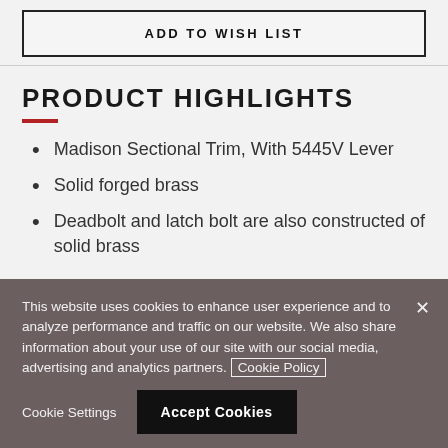ADD TO WISH LIST
PRODUCT HIGHLIGHTS
Madison Sectional Trim, With 5445V Lever
Solid forged brass
Deadbolt and latch bolt are also constructed of solid brass
This website uses cookies to enhance user experience and to analyze performance and traffic on our website. We also share information about your use of our site with our social media, advertising and analytics partners. Cookie Policy
Cookie Settings
Accept Cookies